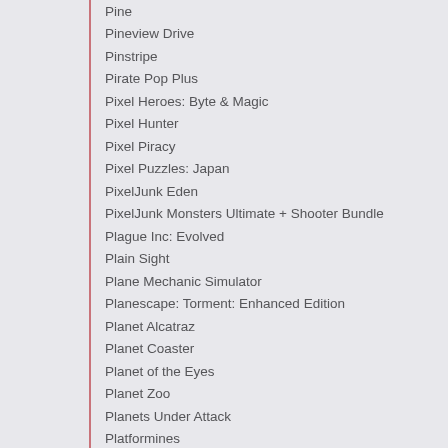Pine
Pineview Drive
Pinstripe
Pirate Pop Plus
Pixel Heroes: Byte & Magic
Pixel Hunter
Pixel Piracy
Pixel Puzzles: Japan
PixelJunk Eden
PixelJunk Monsters Ultimate + Shooter Bundle
Plague Inc: Evolved
Plain Sight
Plane Mechanic Simulator
Planescape: Torment: Enhanced Edition
Planet Alcatraz
Planet Coaster
Planet of the Eyes
Planet Zoo
Planets Under Attack
Platformines
Pneuma: Breath of Life
Pocket Kingdom